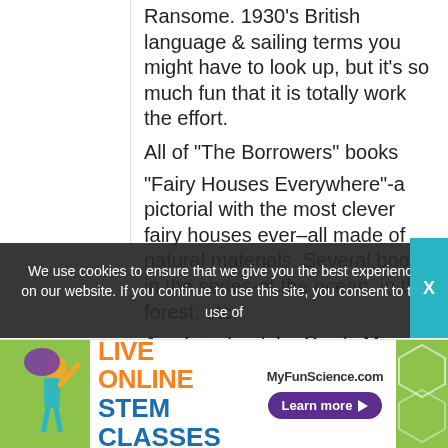Ransome. 1930’s British language & sailing terms you might have to look up, but it’s so much fun that it is totally work the effort.
All of “The Borrowers” books
“Fairy Houses Everywhere”-a pictorial with the most clever fairy houses ever–all made of natural materials. Several books in the series-at the ocean, in the forest, etc.
Any fairy book by Cecily Mary Barker–generally girls enjoy but the pictures are beautiful.
Any of the “Ology” books-“Piratology”, “Dragonology”, “Duckalogy”-beautiful interactive pages, and what a workout for the
We use cookies to ensure that we give you the best experience on our website. If you continue to use this site, you consent to the use of
[Figure (illustration): Advertisement banner for MyFunScience.com featuring LIVE ONLINE STEM CLASSES with an illustration of a girl and hexagonal design elements. Purple Learn more button on the right.]